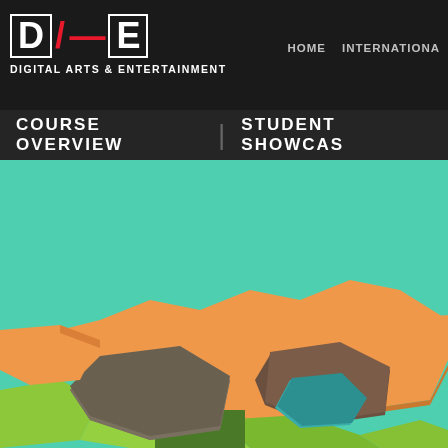[Figure (logo): DAE Digital Arts & Entertainment logo with blocky white letters D, slash in red, A, E on dark background]
HOME    INTERNATIONA
COURSE OVERVIEW
STUDENT SHOWCAS
[Figure (illustration): 3D rendered hexagonal geometric shapes in orange, green, teal, and brown/grey colors on a mint green background, viewed from above at an angle]